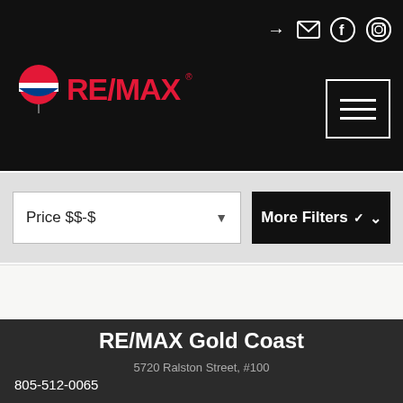[Figure (logo): RE/MAX logo with red balloon icon and RE/MAX text in red on black header]
[Figure (screenshot): Social/navigation icons: login arrow, mail envelope, Facebook circle, Instagram circle, and hamburger menu button]
Price $$-$
More Filters ∨
RE/MAX Gold Coast
5720 Ralston Street, #100
Ventura, CA 93003
805-512-0065
Si...   ...uire assistance in navigating our website or searching for real